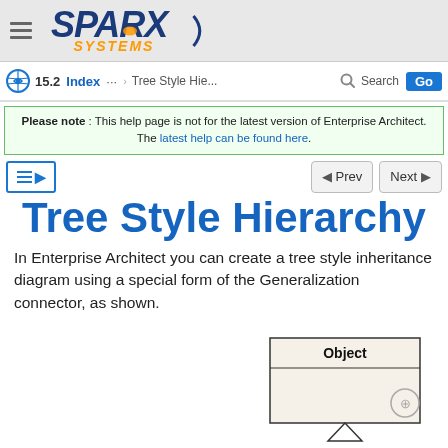Sparx Systems – 15.2
15.2   Index   ...   Tree Style Hie...   Search   Go
Please note : This help page is not for the latest version of Enterprise Architect. The latest help can be found here.
Tree Style Hierarchy
In Enterprise Architect you can create a tree style inheritance diagram using a special form of the Generalization connector, as shown.
[Figure (engineering-diagram): UML class diagram showing an 'Object' class box with two compartments (name and body), with a triangle/generalization arrow pointing upward from below, indicating tree style hierarchy inheritance.]